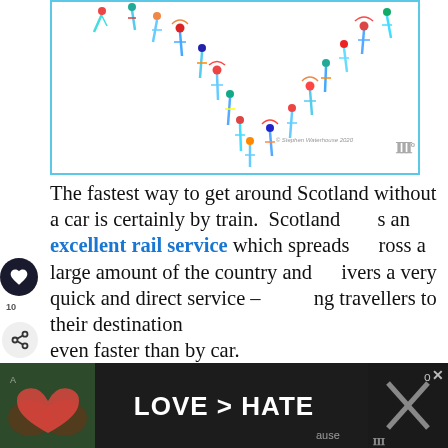[Figure (illustration): Colorful illustration of people figures in a chain/arc formation on white background with light blue border. Copyright Stephen Waterhouse 2020.]
The fastest way to get around Scotland without a car is certainly by train.  Scotland has an excellent rail service which spreads across a large amount of the country and delivers a very quick and direct service – getting travellers to their destination even faster than by car.
[Figure (photo): Advertisement banner: LOVE > HATE with hands making heart shape, dark background. Close button visible.]